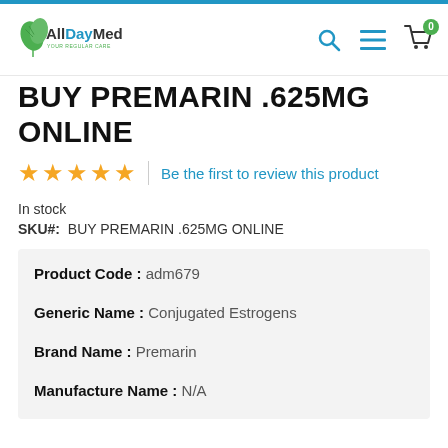AllDayMed - YOUR REGULAR CARE
BUY PREMARIN .625MG ONLINE
★★★★★ | Be the first to review this product
In stock
SKU#: BUY PREMARIN .625MG ONLINE
| Field | Value |
| --- | --- |
| Product Code : | adm679 |
| Generic Name : | Conjugated Estrogens |
| Brand Name : | Premarin |
| Manufacture Name : | N/A |